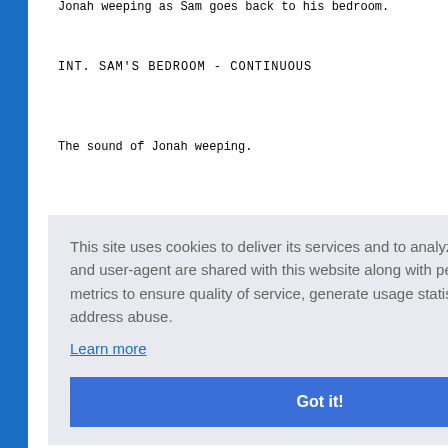Jonah weeping as Sam goes back to his bedroom.
INT. SAM'S BEDROOM - CONTINUOUS
The sound of Jonah weeping.
ld on him
This site uses cookies to deliver its services and to analyze traffic. Your IP address and user-agent are shared with this website along with performance and security metrics to ensure quality of service, generate usage statistics, and to detect and address abuse. Learn more Got it!
housebo
onah's de
SAM